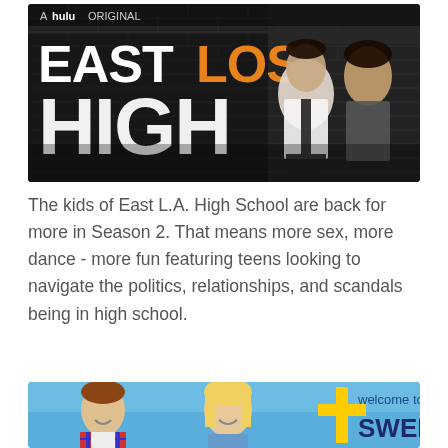[Figure (photo): East Los High TV show promotional poster on dark brick background. Text reads 'A hulu ORIGINAL' at top, then 'EAST LOS HIGH' in large white and orange letters. Two actors visible: a man in white shirt and tie, and a woman in a gray dress.]
The kids of East L.A. High School are back for more in Season 2. That means more sex, more dance - more fun featuring teens looking to navigate the politics, relationships, and scandals being in high school.
[Figure (photo): Welcome to Sweden TV show promotional image. Blue sky background with two actors smiling - a man in a plaid shirt and a woman with blonde hair. Text reads 'welcome to SWEDEN' with a cross/plus symbol in yellow and gold.]